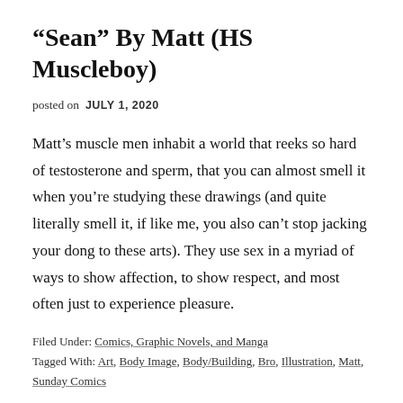“Sean” By Matt (HS Muscleboy)
posted on  JULY 1, 2020
Matt’s muscle men inhabit a world that reeks so hard of testosterone and sperm, that you can almost smell it when you’re studying these drawings (and quite literally smell it, if like me, you also can’t stop jacking your dong to these arts). They use sex in a myriad of ways to show affection, to show respect, and most often just to experience pleasure.
Filed Under: Comics, Graphic Novels, and Manga
Tagged With: Art, Body Image, Body/Building, Bro, Illustration, Matt, Sunday Comics